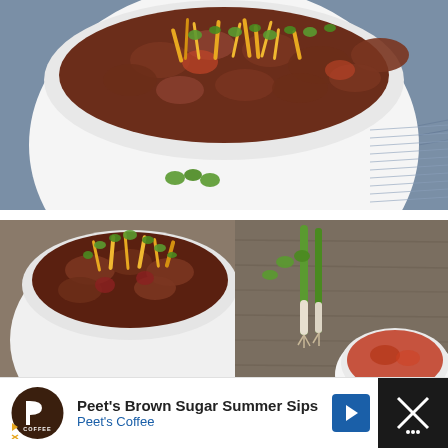[Figure (photo): Top-down view of a white bowl filled with chili topped with shredded cheddar cheese and sliced green onions, placed on a blue textured cloth. Some green onion pieces are on the cloth beside the bowl.]
[Figure (photo): Split image: left side shows a white bowl of chili topped with shredded cheddar cheese and sliced green onions; right side shows fresh green onions and a small white bowl with red spice powder on a gray wood surface.]
[Figure (advertisement): Advertisement banner for Peet's Coffee Brown Sugar Summer Sips, featuring Peet's Coffee logo on the left, text in center, and a navigation arrow icon. Right side shows a dark panel with crossed utensils icon.]